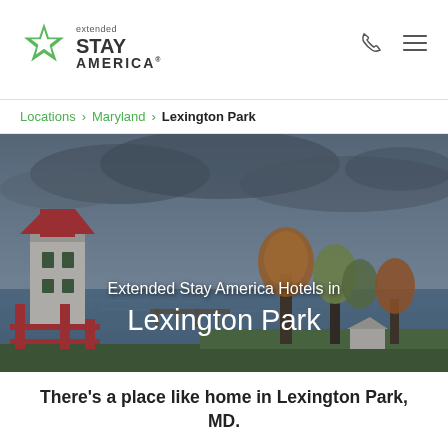[Figure (logo): Extended Stay America logo with green star icon, 'extended' in small text above 'STAY AMERICA' wordmark]
[Figure (other): Phone icon and hamburger menu icon in header top right]
Locations > Maryland > Lexington Park
[Figure (photo): Scenic coastal photo of Lexington Park Maryland showing a red and white lighthouse/tower on the left, calm water in the middle, trees with autumn foliage on the right, under a dramatic cloudy sky. Overlaid text reads 'Extended Stay America Hotels in Lexington Park']
There's a place like home in Lexington Park, MD.
Located on the beautiful Patuxent River, Lexington Park, Maryland has much to offer tourists and business travelers